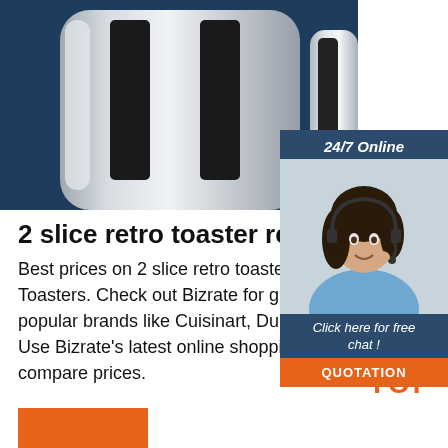[Figure (photo): Stainless steel retro toaster on dark blue background]
[Figure (photo): 24/7 online chat widget with woman wearing headset, 'Click here for free chat!' text, and QUOTATION button]
2 slice retro toaster red Toaste...
Best prices on 2 slice retro toaster red Toasters. Check out Bizrate for great deals on popular brands like Cuisinart, Dualit and Hatco. Use Bizrate's latest online shopping features to compare prices.
[Figure (other): TOP back-to-top button with dotted circle and orange text]